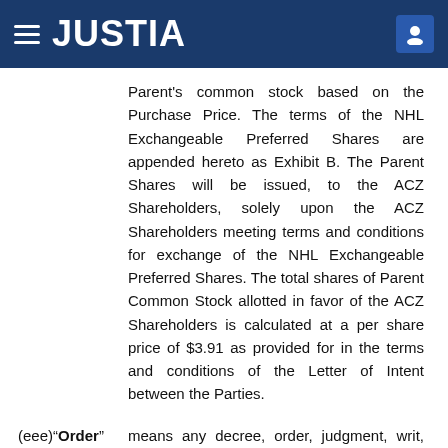JUSTIA
Parent's common stock based on the Purchase Price. The terms of the NHL Exchangeable Preferred Shares are appended hereto as Exhibit B. The Parent Shares will be issued, to the ACZ Shareholders, solely upon the ACZ Shareholders meeting terms and conditions for exchange of the NHL Exchangeable Preferred Shares. The total shares of Parent Common Stock allotted in favor of the ACZ Shareholders is calculated at a per share price of $3.91 as provided for in the terms and conditions of the Letter of Intent between the Parties.
(eee)“Order” means any decree, order, judgment, writ, award, injunction, rule, or consent of or by an Authority.